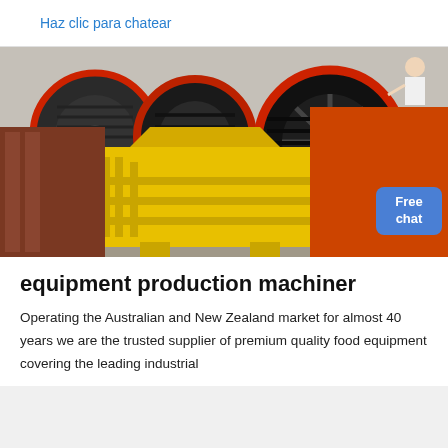Haz clic para chatear
[Figure (photo): Industrial jaw crusher machinery in yellow with large black and red flywheel pulleys, photographed in a factory/yard setting]
equipment production machiner
Operating the Australian and New Zealand market for almost 40 years we are the trusted supplier of premium quality food equipment covering the leading industrial